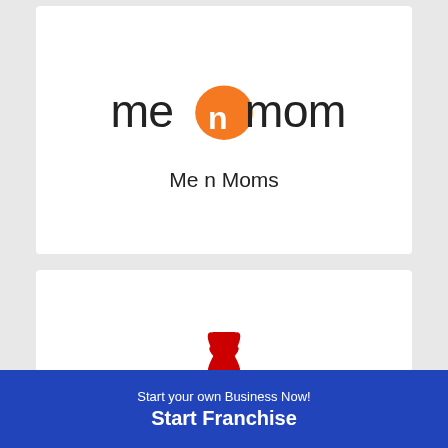[Figure (logo): Me n Moms logo with orange circle and stylized text]
Me n Moms
[Figure (logo): Chick Blast logo with red circular badge, chicken graphic, and text 'Grilled & Fried Chicken']
Chick Blast
[Figure (logo): Belgian Waffle Co. logo with golden waffle-shaped badge and script text]
Belgian Waffle Co.
[Figure (logo): VS badge with yellow/red starburst and VS text]
Start your own Business Now!
Start Franchise